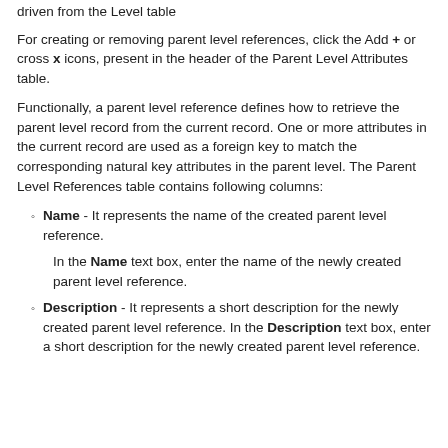driven from the Level table
For creating or removing parent level references, click the Add + or cross x icons, present in the header of the Parent Level Attributes table.
Functionally, a parent level reference defines how to retrieve the parent level record from the current record. One or more attributes in the current record are used as a foreign key to match the corresponding natural key attributes in the parent level. The Parent Level References table contains following columns:
Name - It represents the name of the created parent level reference.
In the Name text box, enter the name of the newly created parent level reference.
Description - It represents a short description for the newly created parent level reference. In the Description text box, enter a short description for the newly created parent level reference.